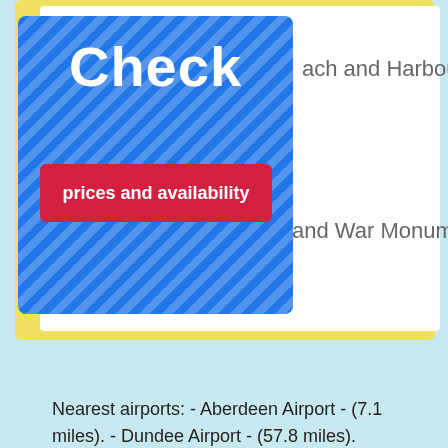[Figure (screenshot): Blue diagonal-striped 'Check' banner with red 'prices and availability' button overlaid on a travel booking webpage]
ach and Harbour
and War Monument
Nearest airports: - Aberdeen Airport - (7.1 miles). - Dundee Airport - (57.8 miles).
We encourage you to book online
Similar accommodations
2 Redmo...
We use cookies to collect statistical data. They can also be used by research and advertising companies cooperating with us. Click "I accept", you consent to the use of cookies. If you do not agree, leave the website or change your browser settings.